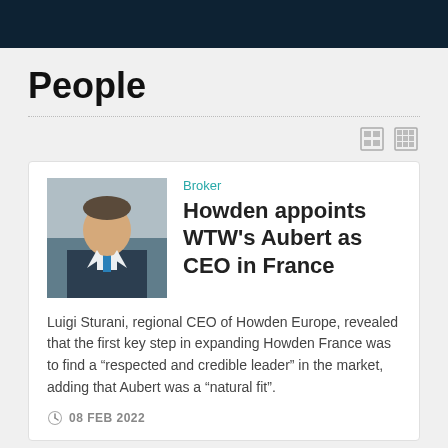People
[Figure (photo): Portrait photo of a man in a dark suit with a blue tie]
Broker
Howden appoints WTW's Aubert as CEO in France
Luigi Sturani, regional CEO of Howden Europe, revealed that the first key step in expanding Howden France was to find a “respected and credible leader” in the market, adding that Aubert was a “natural fit”.
08 FEB 2022